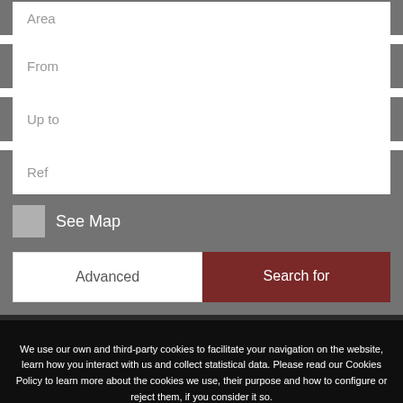[Figure (screenshot): Partial form field labeled 'Area' visible at top (cropped)]
From
Up to
Ref
See Map
Advanced
Search for
We use our own and third-party cookies to facilitate your navigation on the website, learn how you interact with us and collect statistical data. Please read our Cookies Policy to learn more about the cookies we use, their purpose and how to configure or reject them, if you consider it so.
Accept all
Manage Cookies
Reject
QUESTION?